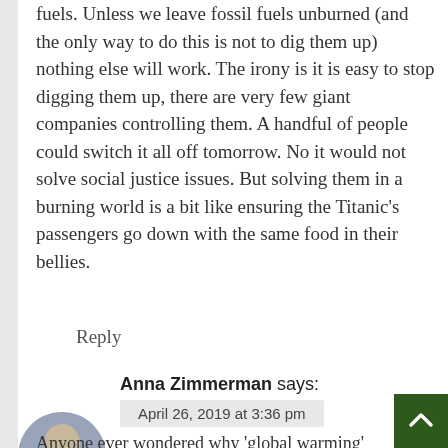fuels. Unless we leave fossil fuels unburned (and the only way to do this is not to dig them up) nothing else will work. The irony is it is easy to stop digging them up, there are very few giant companies controlling them. A handful of people could switch it all off tomorrow. No it would not solve social justice issues. But solving them in a burning world is a bit like ensuring the Titanic's passengers go down with the same food in their bellies.
Reply
Anna Zimmerman says:
April 26, 2019 at 3:36 pm
Anyone ever wondered why ‘global warming’ mysteriously morphed into ‘climate change’? Simply, the earth is no longer